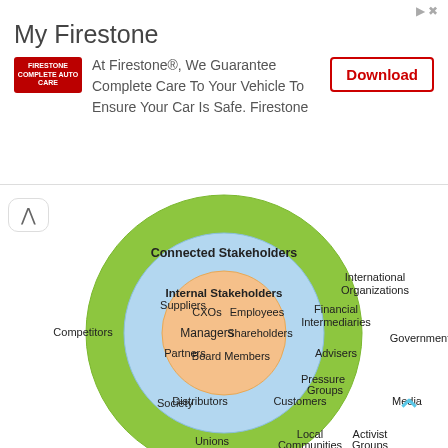[Figure (infographic): Ad banner for My Firestone app with logo, description text, and Download button]
[Figure (infographic): Concentric circles stakeholder diagram showing Internal Stakeholders (CXOs, Employees, Managers, Shareholders, Board Members) in center orange circle, Connected Stakeholders (Suppliers, Partners, Distributors, Customers, Advisers, Financial Intermediaries) in middle blue circle, and outer group (Society, Competitors, Unions, Local Communities, Pressure Groups, International Organizations, Government, Media, Activist Groups) in outer green circle.]